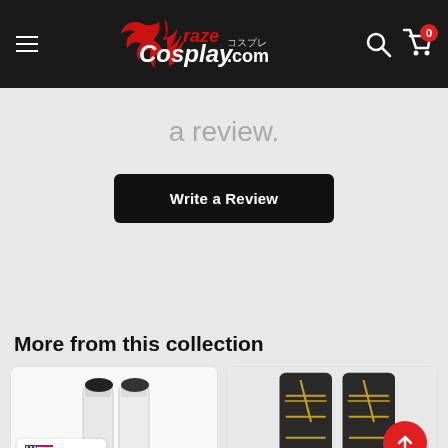CrazeCosplay.com
a review.
Write a Review
More from this collection
[Figure (photo): White cosplay boots/legs armor pieces displayed in a product card]
[Figure (photo): Dark cosplay boots with gold accents displayed in a product card]
USD